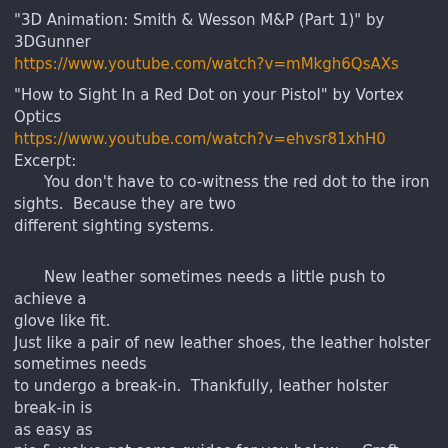"3D Animation: Smith & Wesson M&P (Part 1)" by 3DGunner
https://www.youtube.com/watch?v=mMkgh6QsAXs
"How to Sight In a Red Dot on your Pistol" by Vortex Optics
https://www.youtube.com/watch?v=ehvsr81xhH0
Excerpt:
    You don't have to co-witness the red dot to the iron sights.  Because they are two different sighting systems.
New leather sometimes needs a little push to achieve a glove like fit.
Just like a pair of new leather shoes, the leather holster sometimes needs
to undergo a break-in.  Thankfully, leather holster break-in is as easy as
pie & we've got some guides for you below. -- Craft Holster
    Holster Break-in video
https://www.youtube.com/watch?v=n3fyN8mcvBs
    Holster Break-in Guide
https://www.craftholsters.com/break-in-guide
    Break-in Guide PDF